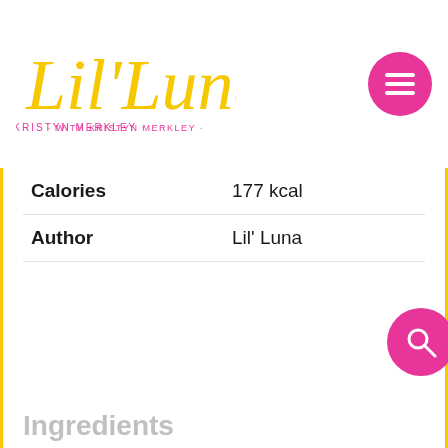[Figure (logo): Lil' Luna script logo in yellow/gold with tagline 'WITH KRISTYN MERKLEY' in pink]
| Calories | 177 kcal |
| Author | Lil' Luna |
Ingredients